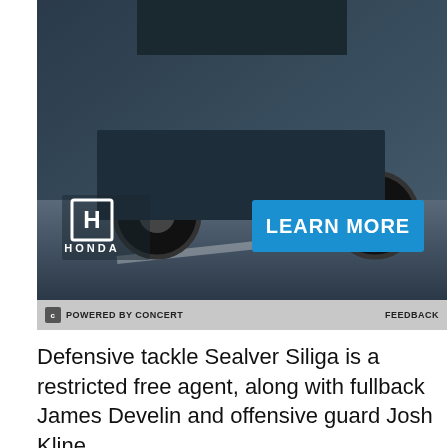[Figure (photo): Honda car advertisement with dark background, car undercarriage/wheels visible at top, Honda logo and LEARN MORE blue button]
Defensive tackle Sealver Siliga is a restricted free agent, along with fullback James Develin and offensive guard Josh Kline.
[Figure (infographic): DraftKings Sportsbook betting widget for Rhamondre Stevenson showing odds: To win Offensive Player of the Year +20000, Most Rushing Yards in... +6000]